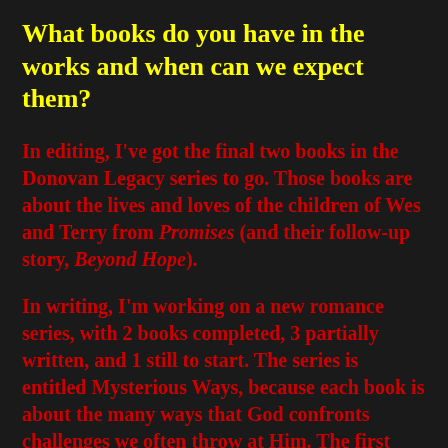What books do you have in the works and when can we expect them?
In editing, I've got the final two books in the Donovan Legacy series to go. Those books are about the lives and loves of the children of Wes and Terry from Promises (and their follow-up story, Beyond Hope).
In writing, I'm working on a new romance series, with 2 books completed, 3 partially written, and 1 still to start. The series is entitled Mysterious Ways, because each book is about the many ways that God confronts challenges we often throw at Him. The first three books in the series all stem from a conversation the heroes have about how